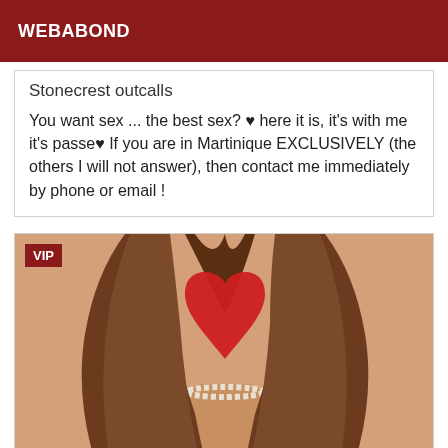WEBABOND
Stonecrest outcalls
You want sex ... the best sex? ♥ here it is, it's with me it's passe♥ If you are in Martinique EXCLUSIVELY (the others I will not answer), then contact me immediately by phone or email !
[Figure (photo): Photo of a person with long curly brown hair, face obscured by a red heart shape overlay, wearing a pearl necklace, with a VIP badge in the top left corner.]